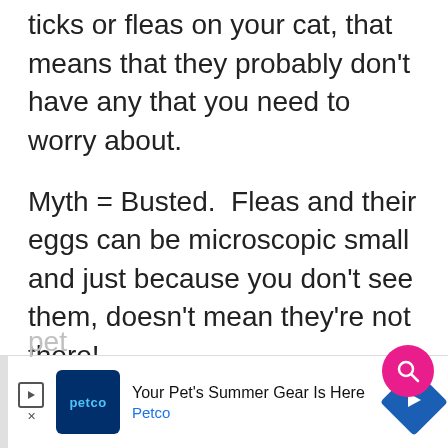ticks or fleas on your cat, that means that they probably don't have any that you need to worry about.
Myth = Busted.  Fleas and their eggs can be microscopic small and just because you don't see them, doesn't mean they're not there!
Myth #3 – Fleas and ticks can't actually do any harm to your cat. They're just more of a nuisance to the pet
[Figure (other): Advertisement banner for Petco: 'Your Pet's Summer Gear Is Here' with Petco logo and navigation arrow]